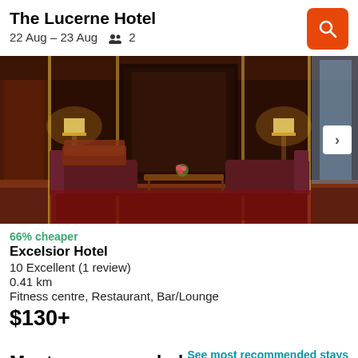The Lucerne Hotel
22 Aug – 23 Aug  👥 2
[Figure (photo): Interior lobby of Excelsior Hotel showing ornate dark wood paneling, decorative lamps, mirror, and upholstered seating with a coffee table]
66% cheaper
Excelsior Hotel
10 Excellent (1 review)
0.41 km
Fitness centre, Restaurant, Bar/Lounge
$130+
Most recommended
See most recommended stays in New York